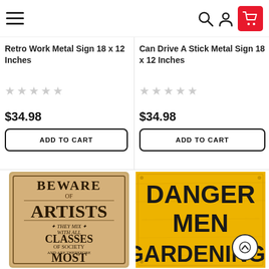Navigation header with hamburger menu, search, account, and cart icons
Retro Work Metal Sign 18 x 12 Inches
★★★★★ (empty stars)
$34.98
ADD TO CART
Can Drive A Stick Metal Sign 18 x 12 Inches
★★★★★ (empty stars)
$34.98
ADD TO CART
[Figure (photo): Beware of Artists vintage-style metal sign with decorative text on tan background]
[Figure (photo): Danger Men Gardening yellow warning-style metal sign with bold black text]